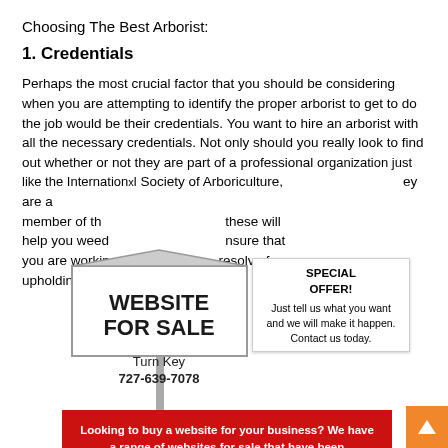Choosing The Best Arborist:
1. Credentials
Perhaps the most crucial factor that you should be considering when you are attempting to identify the proper arborist to get to do the job would be their credentials. You want to hire an arborist with all the necessary credentials. Not only should you really look to find out whether or not they are part of a professional organization just like the International Society of Arboriculture, they are a member of th these will help you weed nsure that you are workin resolve for upholding the
[Figure (infographic): Website For Sale advertisement sign with special offer box and red banner. Sign reads: WEBSITE FOR SALE, Turn Key, 727-639-7078. Special offer box reads: SPECIAL OFFER! Just tell us what you want and we will make it happen. Contact us today. Red banner reads: Looking to buy a website for your business? We have a range of websites for sale that have been professionally vetted by our experienced team.]
2. Updated In
Another major when hiring a company like t ake certain that the company you find yourself hiring has the appropriate